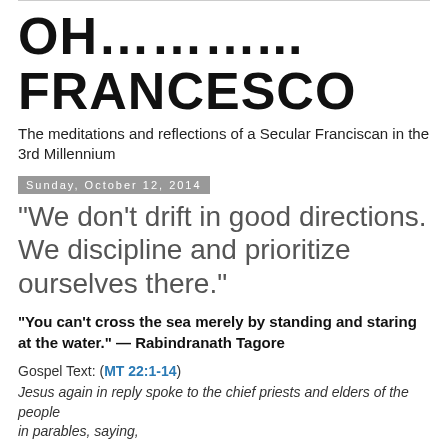OH………... FRANCESCO
The meditations and reflections of a Secular Franciscan in the 3rd Millennium
Sunday, October 12, 2014
“We don’t drift in good directions. We discipline and prioritize ourselves there.”
“You can’t cross the sea merely by standing and staring at the water.” — Rabindranath Tagore
Gospel Text: (MT 22:1-14)
Jesus again in reply spoke to the chief priests and elders of the people
in parables, saying,